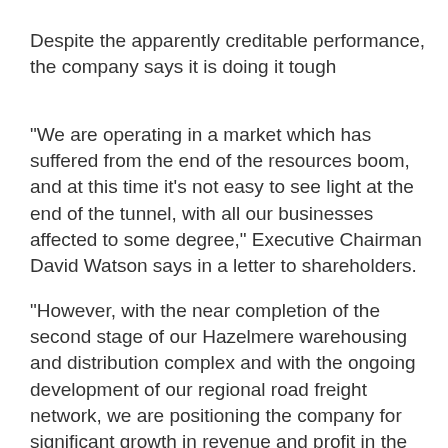Despite the apparently creditable performance, the company says it is doing it tough
"We are operating in a market which has suffered from the end of the resources boom, and at this time it's not easy to see light at the end of the tunnel, with all our businesses affected to some degree," Executive Chairman David Watson says in a letter to shareholders.
"However, with the near completion of the second stage of our Hazelmere warehousing and distribution complex and with the ongoing development of our regional road freight network, we are positioning the company for significant growth in revenue and profit in the future, as conditions improve."
SUBSCRIBE TO OUR NEWSLETTER
Sign up to receive the ATN e-newsletter, digital magazine